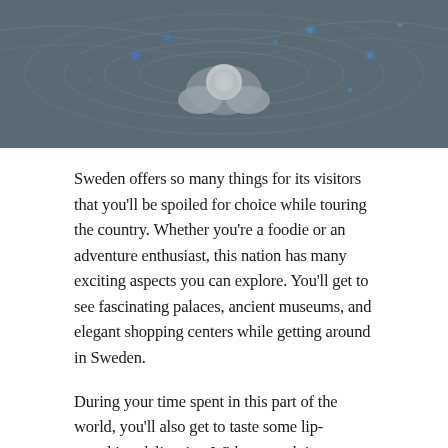[Figure (photo): A dramatic blue-tinted photo of hands holding a glowing light source, with swirling icy or smoky textures and small blue glowing dots scattered in the background.]
Sweden offers so many things for its visitors that you'll be spoiled for choice while touring the country. Whether you're a foodie or an adventure enthusiast, this nation has many exciting aspects you can explore. You'll get to see fascinating palaces, ancient museums, and elegant shopping centers while getting around in Sweden.
During your time spent in this part of the world, you'll also get to taste some lip-smacking delicacies. With so much in store for visitors, the things that you can do in Sweden would be endless. However, these are the ones you must never miss: